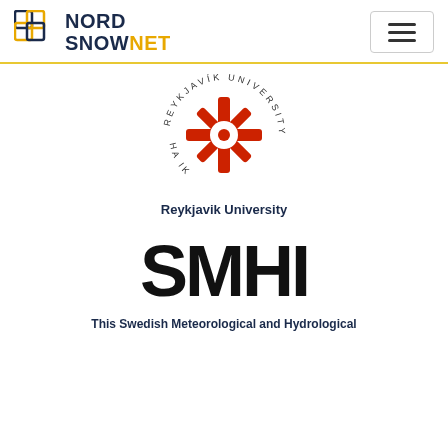[Figure (logo): NordSnowNet logo with interlocking squares in navy and gold, text NORD SNOWNET with NET in gold]
[Figure (logo): Reykjavik University circular logo with red snowflake/compass rose symbol and text around the circle]
Reykjavik University
[Figure (logo): SMHI logo in large bold black text]
This Swedish Meteorological and Hydrological